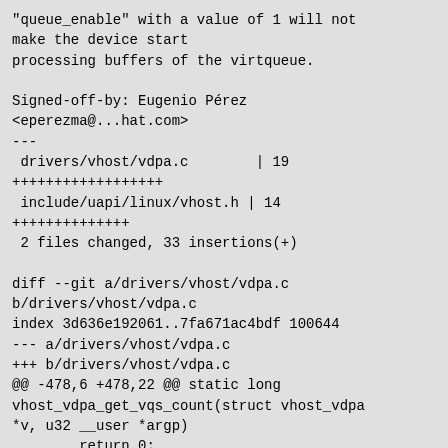"queue_enable" with a value of 1 will not make the device start
processing buffers of the virtqueue.

Signed-off-by: Eugenio Pérez
<eperezma@...hat.com>
---
 drivers/vhost/vdpa.c        | 19 ++++++++++++++++++
 include/uapi/linux/vhost.h | 14 ++++++++++++++
 2 files changed, 33 insertions(+)

diff --git a/drivers/vhost/vdpa.c b/drivers/vhost/vdpa.c
index 3d636e192061..7fa671ac4bdf 100644
--- a/drivers/vhost/vdpa.c
+++ b/drivers/vhost/vdpa.c
@@ -478,6 +478,22 @@ static long vhost_vdpa_get_vqs_count(struct vhost_vdpa *v, u32 __user *argp)
        return 0;
 }

+/* After a successful return of ioctl the